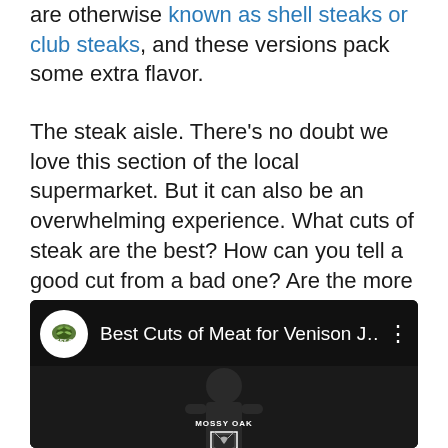are otherwise known as shell steaks or club steaks, and these versions pack some extra flavor.
The steak aisle. There's no doubt we love this section of the local supermarket. But it can also be an overwhelming experience. What cuts of steak are the best? How can you tell a good cut from a bad one? Are the more expensive cuts really worth the cost? There's nothing better than a juicy, flavorful grilled steak.
[Figure (screenshot): YouTube video embed thumbnail showing a Mossy Oak video titled 'Best Cuts of Meat for Venison J...' with the Mossy Oak channel icon and a dark thumbnail featuring a person with the Mossy Oak logo.]